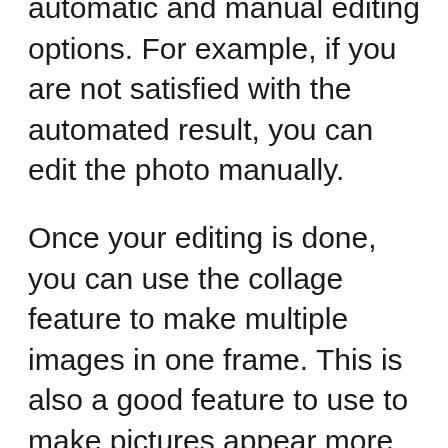automatic and manual editing options. For example, if you are not satisfied with the automated result, you can edit the photo manually.
Once your editing is done, you can use the collage feature to make multiple images in one frame. This is also a good feature to use to make pictures appear more stunning so you can share them on social media.
This application allows you to edit photos in several ways, such as adding beard, mustache, abs, reshaping images, taller height, and many more. Overall, it is excellent for all